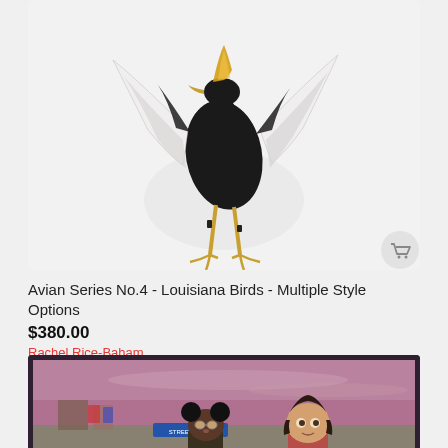[Figure (photo): Painting of a black and white bird (heron or similar wading bird) with golden highlights, wings spread, standing on legs, on a light/white background. A shopping cart button is visible in the bottom right corner of the image.]
Avian Series No.4 - Louisiana Birds - Multiple Style Options
$380.00
Rachel Rice-Baham
[Figure (photo): Painting showing two illustrated characters in a scene with a purple/pink sky. One character wears Mickey Mouse ears, the other is a girl with dark hair. There is a blue street sign in the background and a store/urban setting.]